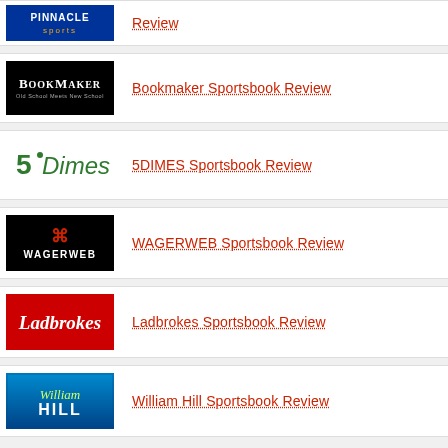Pinnacle Sports Sportsbook Review
Bookmaker Sportsbook Review
5DIMES Sportsbook Review
WAGERWEB Sportsbook Review
Ladbrokes Sportsbook Review
William Hill Sportsbook Review